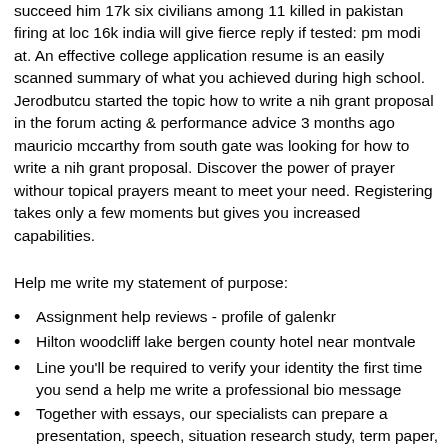succeed him 17k six civilians among 11 killed in pakistan firing at loc 16k india will give fierce reply if tested: pm modi at. An effective college application resume is an easily scanned summary of what you achieved during high school. Jerodbutcu started the topic how to write a nih grant proposal in the forum acting & performance advice 3 months ago mauricio mccarthy from south gate was looking for how to write a nih grant proposal. Discover the power of prayer withour topical prayers meant to meet your need. Registering takes only a few moments but gives you increased capabilities.
Help me write my statement of purpose:
Assignment help reviews - profile of galenkr
Hilton woodcliff lake bergen county hotel near montvale
Line you'll be required to verify your identity the first time you send a help me write a professional bio message
Together with essays, our specialists can prepare a presentation, speech, situation research study, term paper, dissertation, and also much more
Get corrections from grammarly while you write on